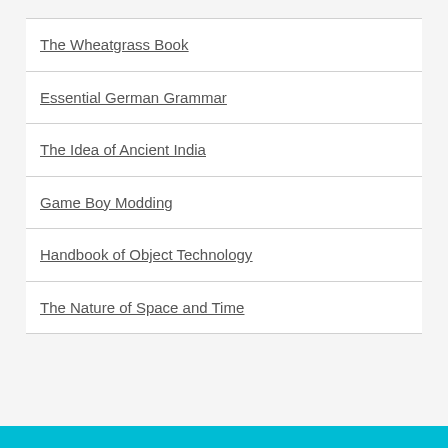The Wheatgrass Book
Essential German Grammar
The Idea of Ancient India
Game Boy Modding
Handbook of Object Technology
The Nature of Space and Time